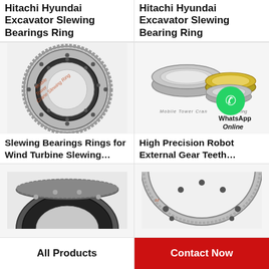Hitachi Hyundai Excavator Slewing Bearings Ring
Hitachi Hyundai Excavator Slewing Bearing Ring
[Figure (photo): Large slewing bearing ring with external gear teeth, circular, metallic gray, with watermark text 'Mobile Tower Crane Slewing Ring']
[Figure (photo): Multiple slewing bearing rings of different sizes, metallic silver and gold, with WhatsApp Online icon overlay and watermark 'Mobile Tower Crane Slewing Ring']
Slewing Bearings Rings for Wind Turbine Slewing...
High Precision Robot External Gear Teeth...
[Figure (photo): Partial view of a dark slewing ring bearing from below]
[Figure (photo): Partial view of a large slewing ring bearing with bolt holes, from above]
All Products
Contact Now